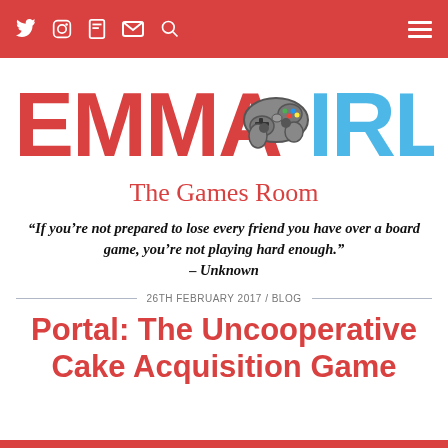Navigation bar with social icons (Twitter, Instagram, Flipboard, Mail, Search) and hamburger menu
[Figure (logo): EMMA IRL logo — EMMA in red pixelated font, a grey game controller icon, IRL in blue pixelated font]
The Games Room
“If you’re not prepared to lose every friend you have over a board game, you’re not playing hard enough.” – Unknown
26TH FEBRUARY 2017 / BLOG
Portal: The Uncooperative Cake Acquisition Game